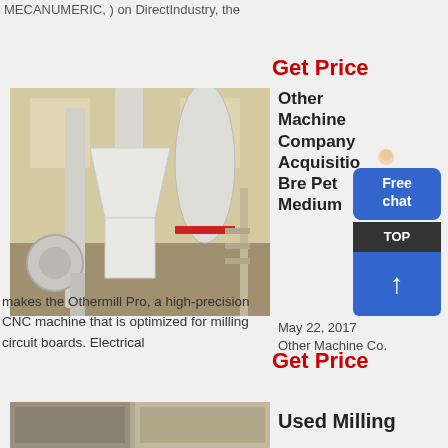MECANUMERIC, ) on DirectIndustry, the
Get Price
[Figure (photo): Industrial milling machine with white hopper and pipes in a factory setting]
Other Machine Company Acquisition Bre Pet Medium
May 22, 2017
Other Machine Co.
makes the Othermill Pro, a high-precision CNC machine that is optimized for milling circuit boards. Electrical
Get Price
[Figure (photo): Partial bottom image strip of industrial machinery]
Used Milling